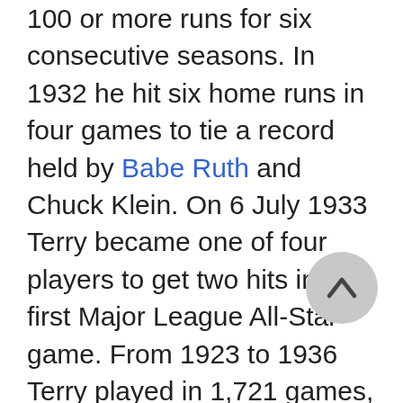100 or more runs for six consecutive seasons. In 1932 he hit six home runs in four games to tie a record held by Babe Ruth and Chuck Klein. On 6 July 1933 Terry became one of four players to get two hits in the first Major League All-Star game. From 1923 to 1936 Terry played in 1,721 games, collecting 2,193 hits, 373 doubles, 112 triples, 154 home runs, and 1,078 runs batted in (RBI). Terry led the league in doubles in 1931, a year after he was named first baseman on the Sporting